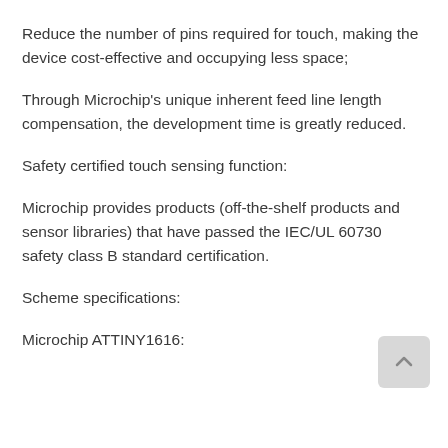Reduce the number of pins required for touch, making the device cost-effective and occupying less space;
Through Microchip's unique inherent feed line length compensation, the development time is greatly reduced.
Safety certified touch sensing function:
Microchip provides products (off-the-shelf products and sensor libraries) that have passed the IEC/UL 60730 safety class B standard certification.
Scheme specifications:
Microchip ATTINY1616: